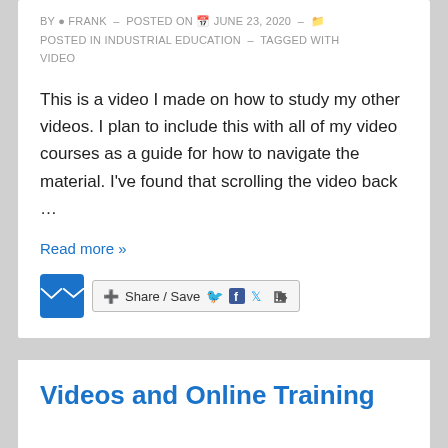BY FRANK - POSTED ON JUNE 23, 2020 - POSTED IN INDUSTRIAL EDUCATION - TAGGED WITH VIDEO
This is a video I made on how to study my other videos. I plan to include this with all of my video courses as a guide for how to navigate the material. I've found that scrolling the video back …
Read more »
[Figure (other): Email/share button row with mail icon button and Share/Save button with Facebook and Twitter icons]
Videos and Online Training